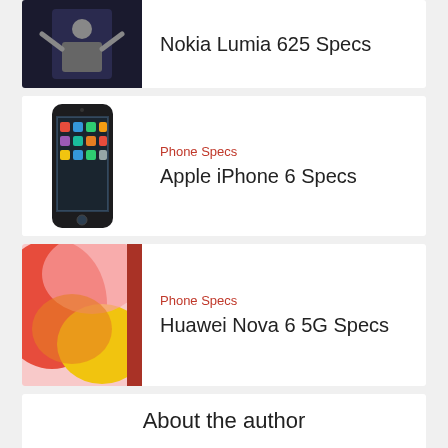Nokia Lumia 625 Specs
Phone Specs
Apple iPhone 6 Specs
Phone Specs
Huawei Nova 6 5G Specs
About the author
[Figure (illustration): Default user avatar placeholder circle with silhouette]